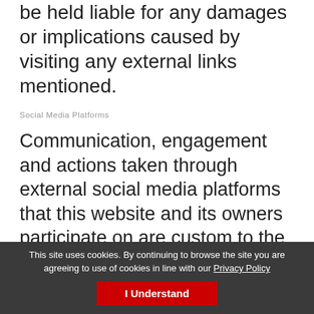be held liable for any damages or implications caused by visiting any external links mentioned.
Social Media Platforms
Communication, engagement and actions taken through external social media platforms that this website and its owners participate on are custom to the terms and conditions as well as the privacy policies held with each social media platform respectively.
Users are advised to use social media platforms wisely and communicate / engage upon them with due care and caution in regard to their own privacy and personal details. This website nor its
This site uses cookies. By continuing to browse the site you are agreeing to use of cookies in line with our Privacy Policy
I Understand